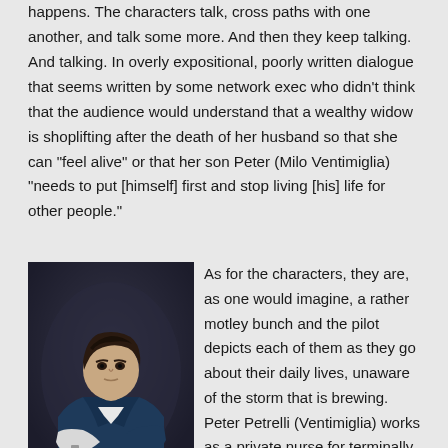happens. The characters talk, cross paths with one another, and talk some more. And then they keep talking. And talking. In overly expositional, poorly written dialogue that seems written by some network exec who didn't think that the audience would understand that a wealthy widow is shoplifting after the death of her husband so that she can "feel alive" or that her son Peter (Milo Ventimiglia) "needs to put [himself] first and stop living [his] life for other people."
[Figure (photo): Photo of a young man with dark hair, arms crossed, wearing a dark blue jacket over a white shirt, against a dark background]
As for the characters, they are, as one would imagine, a rather motley bunch and the pilot depicts each of them as they go about their daily lives, unaware of the storm that is brewing. Peter Petrelli (Ventimiglia) works as a private nurse for terminally ill patients but keeps dreaming that he can fly. In these